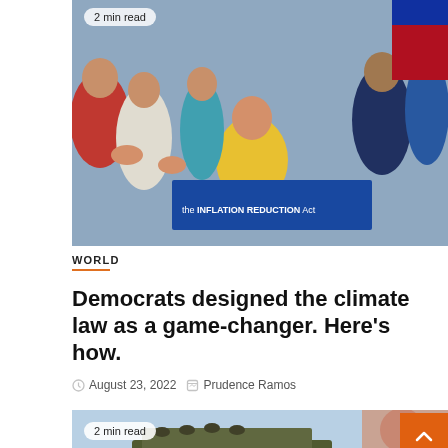[Figure (photo): Group photo of politicians applauding around a table with a sign reading 'the INFLATION REDUCTION Act'. A woman in yellow is seated at the center.]
2 min read
WORLD
Democrats designed the climate law as a game-changer. Here’s how.
August 23, 2022  Prudence Ramos
[Figure (photo): Military missile launcher truck in a field, partially obscured photo of a person on the right side.]
2 min read